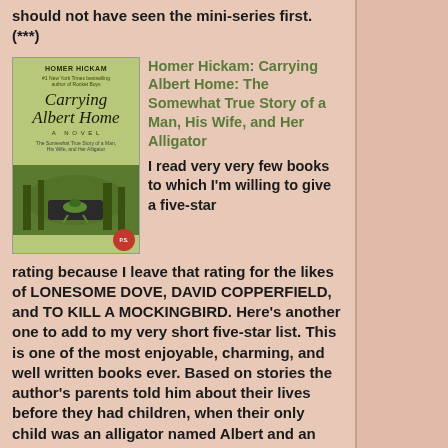should not have seen the mini-series first. (***)
[Figure (photo): Book cover of 'Carrying Albert Home' by Homer Hickam, showing an alligator on a car with trees in the background, green/yellow tones]
Homer Hickam: Carrying Albert Home: The Somewhat True Story of a Man, His Wife, and Her Alligator
I read very very few books to which I'm willing to give a five-star rating because I leave that rating for the likes of LONESOME DOVE, DAVID COPPERFIELD, and TO KILL A MOCKINGBIRD. Here's another one to add to my very short five-star list. This is one of the most enjoyable, charming, and well written books ever. Based on stories the author's parents told him about their lives before they had children, when their only child was an alligator named Albert and an unexplainable rooster. Lots of laughter, some thrills and chills, and a